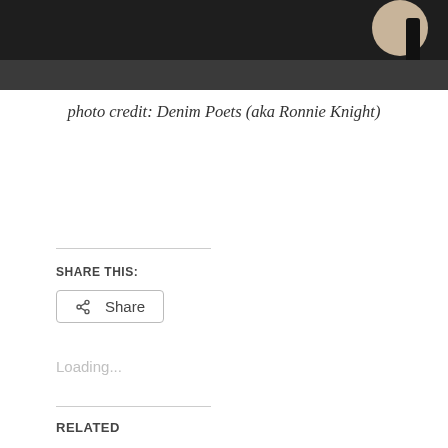[Figure (photo): Partial photo of dark background with a light-colored round object and a dark cylindrical element at right]
photo credit: Denim Poets (aka Ronnie Knight)
SHARE THIS:
Share
Loading...
RELATED
2017 ATCW Group Highlights
December 31, 2017
With 2 comments
“Bringing in the Sheaves” – Gleaning Song Inspirations from Stage Comments and Interviews
November 20, 2018
With 4 comments